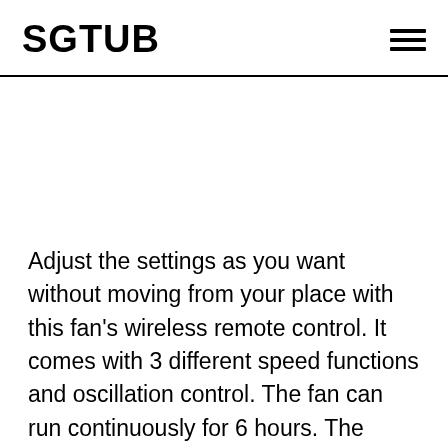SGTUB
Adjust the settings as you want without moving from your place with this fan's wireless remote control. It comes with 3 different speed functions and oscillation control. The fan can run continuously for 6 hours. The quality air filter provides a strong gust of cold wind. The plastic blades of the fan are transparent and light. It blends the fan's comfort...